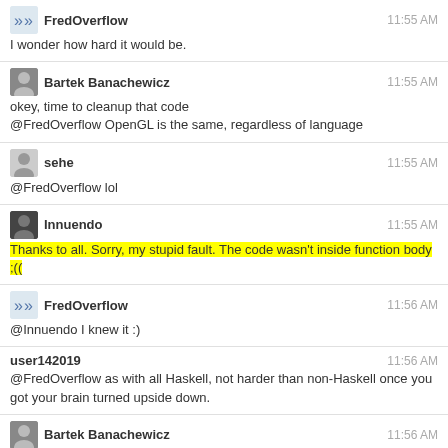FredOverflow 11:55 AM
I wonder how hard it would be.
Bartek Banachewicz 11:55 AM
okey, time to cleanup that code
@FredOverflow OpenGL is the same, regardless of language
sehe 11:55 AM
@FredOverflow lol
Innuendo 11:55 AM
Thanks to all. Sorry, my stupid fault. The code wasn't inside function body ;((
FredOverflow 11:56 AM
@Innuendo I knew it :)
user142019 11:56 AM
@FredOverflow as with all Haskell, not harder than non-Haskell once you got your brain turned upside down.
Bartek Banachewicz 11:56 AM
@FredOverflow I suspected it too.
Innuendo 11:56 AM
:)
FredOverflow 11:56 AM